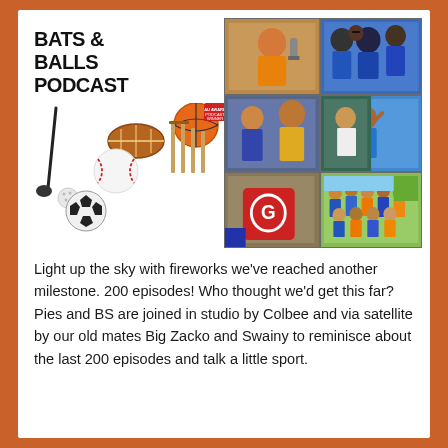[Figure (photo): Podcast cover art collage for 'Bats & Balls Podcast' featuring the show logo with sports ball illustrations (basketball, baseball, football, soccer ball, cricket wickets, golf) alongside a photo collage of podcast hosts and guests at various sporting events, including cricket fans, a rugby team photo, and studio recording sessions. A shield logo with 'G' is visible in the lower left of the collage.]
Light up the sky with fireworks we've reached another milestone. 200 episodes! Who thought we'd get this far? Pies and BS are joined in studio by Colbee and via satellite by our old mates Big Zacko and Swainy to reminisce about the last 200 episodes and talk a little sport.